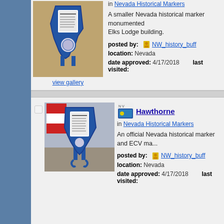[Figure (photo): Nevada state-shaped blue metal historical marker mounted on a building wall]
view gallery
in Nevada Historical Markers
A smaller Nevada historical marker monumented... Elks Lodge building.
posted by: NW_history_buff
location: Nevada
date approved: 4/17/2018    last visited:
Hawthorne
in Nevada Historical Markers
An official Nevada historical marker and ECV ma...
posted by: NW_history_buff
location: Nevada
date approved: 4/17/2018    last visited:
[Figure (photo): Blue metal Nevada state-shaped historical marker on a stand outdoors]